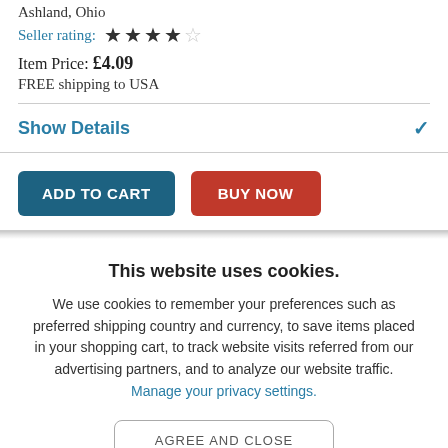Ashland, Ohio
Seller rating: ★★★★☆
Item Price: £4.09
FREE shipping to USA
Show Details
ADD TO CART
BUY NOW
This website uses cookies.
We use cookies to remember your preferences such as preferred shipping country and currency, to save items placed in your shopping cart, to track website visits referred from our advertising partners, and to analyze our website traffic. Manage your privacy settings.
AGREE AND CLOSE